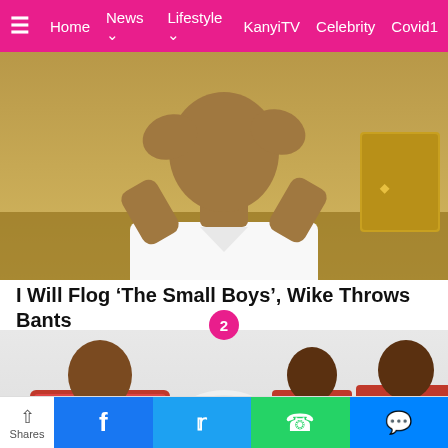Home  News  Lifestyle  KanyiTV  Celebrity  Covid1
[Figure (photo): Person in white shirt with hands raised near face, seated in formal setting]
I Will Flog ‘The Small Boys’, Wike Throws Bants
[Figure (photo): EFCC Nigeria agents in red jackets with EFCC eagle logo, viewed from behind]
I Will Flog ‘The Small Boys’, Wike Throws Bants
7 hours ago
eged N18
Shares  Facebook  Twitter  WhatsApp  Messenger